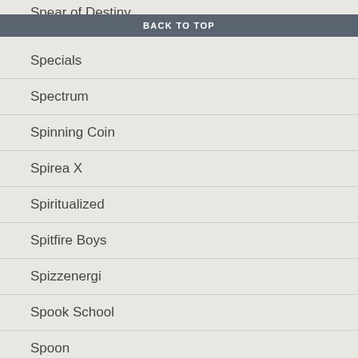Spear of Destiny
BACK TO TOP
Specials
Spectrum
Spinning Coin
Spirea X
Spiritualized
Spitfire Boys
Spizzenergi
Spook School
Spoon
Spring Boutique
Spring King
Squeeze